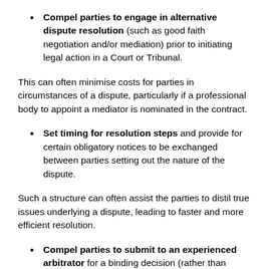Compel parties to engage in alternative dispute resolution (such as good faith negotiation and/or mediation) prior to initiating legal action in a Court or Tribunal.
This can often minimise costs for parties in circumstances of a dispute, particularly if a professional body to appoint a mediator is nominated in the contract.
Set timing for resolution steps and provide for certain obligatory notices to be exchanged between parties setting out the nature of the dispute.
Such a structure can often assist the parties to distil true issues underlying a dispute, leading to faster and more efficient resolution.
Compel parties to submit to an experienced arbitrator for a binding decision (rather than protracted and potentially expensive litigation).
Whilst inherent with risk, where the continued operation of a